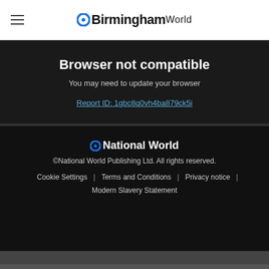BirminghamWorld
Browser not compatible
You may need to update your browser
Report ID: 1gbc8q0vh4ba879ck5i
National World
©National World Publishing Ltd. All rights reserved.
Cookie Settings | Terms and Conditions | Privacy notice | Modern Slavery Statement